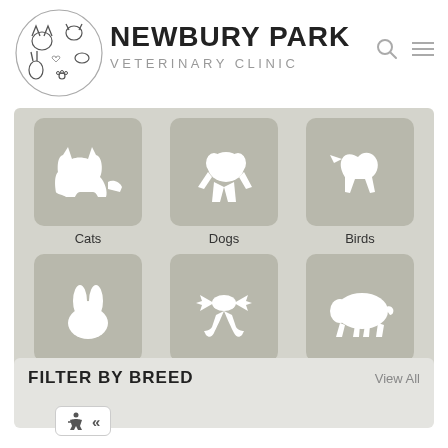[Figure (logo): Newbury Park Veterinary Clinic logo with illustrated animals (cat, dog, bird, rabbit) in circular design]
NEWBURY PARK VETERINARY CLINIC
[Figure (infographic): Grid of six animal category icons: Cats, Dogs, Birds, Small Mammals, Reptiles, Mini-Pigs — white silhouettes on taupe rounded-square backgrounds]
FILTER BY BREED
View All